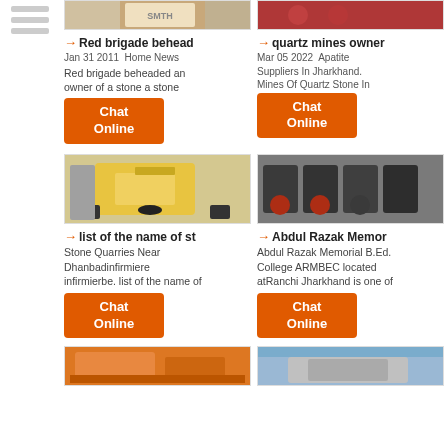[Figure (photo): Industrial mining/crushing machine with orange/grey branding, SMTH logo visible]
[Figure (photo): Red industrial mining machine with circular wheel elements]
→ Red brigade behead
Jan 31 2011  Home News
Red brigade beheaded an owner of a stone a stone
→ quartz mines owner
Mar 05 2022  Apatite Suppliers In Jharkhand. Mines Of Quartz Stone In
Chat Online
Chat Online
[Figure (photo): Yellow cone crusher machine outdoors]
[Figure (photo): Multiple dark grey industrial crushing machines in a factory]
→ list of the name of st
Stone Quarries Near Dhanbadinfirmiere infirmierbe. list of the name of
→ Abdul Razak Memor
Abdul Razak Memorial B.Ed. College ARMBEC located atRanchi Jharkhand is one of
Chat Online
Chat Online
[Figure (photo): Orange industrial mining equipment/conveyor]
[Figure (photo): Industrial building or factory structure under blue sky]